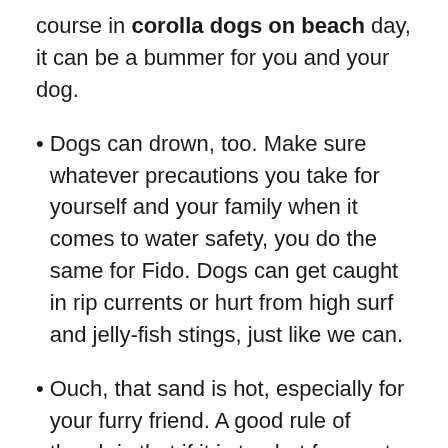course in corolla dogs on beach day, it can be a bummer for you and your dog.
Dogs can drown, too. Make sure whatever precautions you take for yourself and your family when it comes to water safety, you do the same for Fido. Dogs can get caught in rip currents or hurt from high surf and jelly-fish stings, just like we can.
Ouch, that sand is hot, especially for your furry friend. A good rule of thumb is that if it is too hot for you to walk without shoes on, it's definitely too hot for your dog. Consider keeping your dog off the beach during the hottest hours of the day. They and their